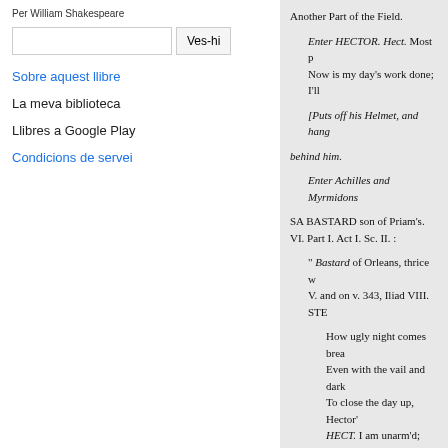Per William Shakespeare
Sobre aquest llibre
La meva biblioteca
Llibres a Google Play
Condicions de servei
Another Part of the Field. Enter HECTOR. Hect. Most p Now is my day's work done; I'll [Puts off his Helmet, and hang behind him. Enter Achilles and Myrmidons SA BASTARD son of Priam's. VI. Part I. Act I. Sc. II. : " Bastard of Orleans, thrice w V. and on v. 343, Iliad VIII. STE How ugly night comes brea Even with the vail and dark To close the day up, Hector' HECT. I am unarm'd; fore Greek. Achil. Strike, fellows, s [Hector fails. So, Ilion, fall the